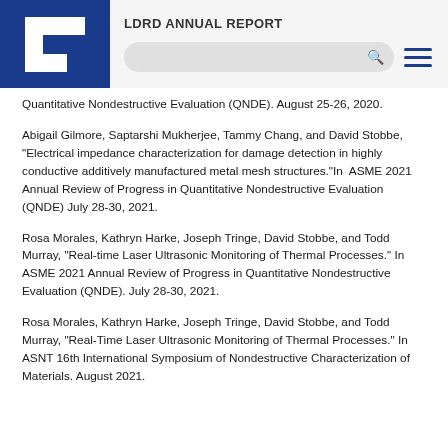LDRD ANNUAL REPORT
Quantitative Nondestructive Evaluation (QNDE). August 25-26, 2020.
Abigail Gilmore, Saptarshi Mukherjee, Tammy Chang, and David Stobbe, "Electrical impedance characterization for damage detection in highly conductive additively manufactured metal mesh structures."In  ASME 2021 Annual Review of Progress in Quantitative Nondestructive Evaluation (QNDE) July 28-30, 2021.
Rosa Morales, Kathryn Harke, Joseph Tringe, David Stobbe, and Todd Murray, "Real-time Laser Ultrasonic Monitoring of Thermal Processes." In ASME 2021 Annual Review of Progress in Quantitative Nondestructive Evaluation (QNDE). July 28-30, 2021.
Rosa Morales, Kathryn Harke, Joseph Tringe, David Stobbe, and Todd Murray, "Real-Time Laser Ultrasonic Monitoring of Thermal Processes." In ASNT 16th International Symposium of Nondestructive Characterization of Materials. August 2021.